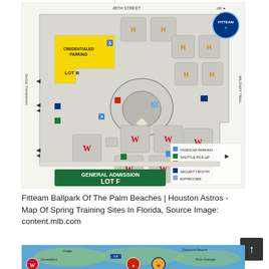[Figure (map): Fitteam Ballpark of the Palm Beaches facility map showing baseball fields, parking lots, roads (45th Street, Haverhill Road, Military Trail), Lot B (credentialed parking, yellow), General Admission Lot F (green banner at bottom), handicap parking, shuttle pick-up, handicap drop off, security booth, bathrooms legend, and Fitteam logo in top right corner.]
Fitteam Ballpark Of The Palm Beaches | Houston Astros - Map Of Spring Training Sites In Florida, Source Image: content.mlb.com
[Figure (map): Partial Florida state map showing cities including Ocala, Daytona Beach, Dunnellon, and Port Orange, with team logos (Nationals, another team, Houston Astros) overlaid.]